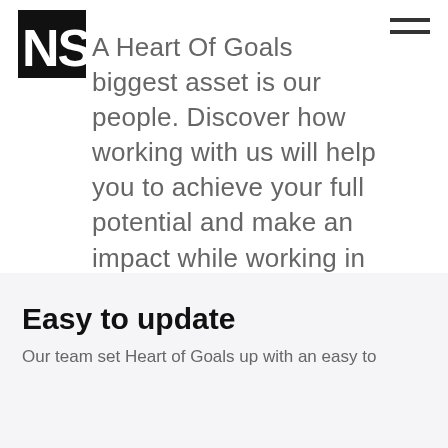[Figure (logo): NS logo — black square with white 'NS' letters in bold]
A Heart Of Goals biggest asset is our people. Discover how working with us will help you to achieve your full potential and make an impact while working in a fun and fast-paced environment.
Easy to update
Our team set Heart of Goals up with an easy to